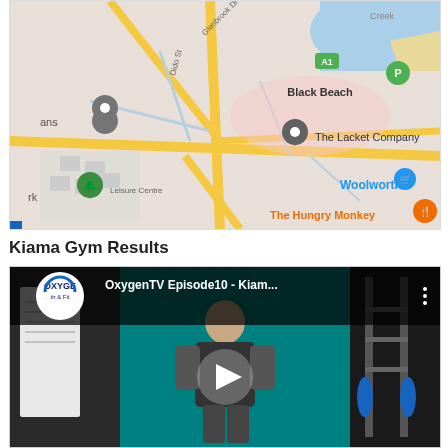[Figure (map): Google Maps screenshot showing area around Black Beach, with roads, Woolworths, The Lacket Company, The Hungry Monkey, and other landmarks visible. Yellow roads, blue water areas, green map pins.]
Kiama Gym Results
[Figure (screenshot): YouTube video thumbnail showing OxygenTV Episode10 - Kiam... with a person standing in a gym with teal walls and gym equipment. Play button visible in center. Oxygen Health & Fitness logo in top left.]